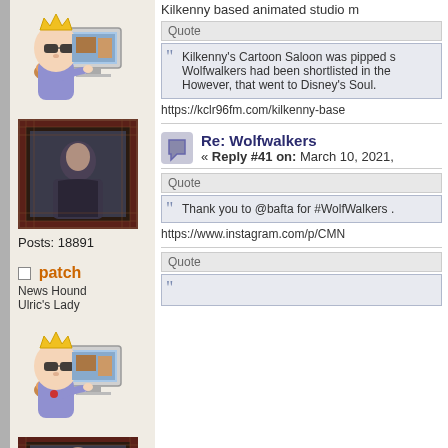[Figure (illustration): Cartoon avatar of a character wearing a crown and sunglasses, sitting at a computer]
[Figure (photo): Profile photo with decorative border, person in dark clothing]
Posts: 18891
patch
News Hound
Ulric's Lady
[Figure (illustration): Cartoon avatar of a character wearing a crown and sunglasses, sitting at a computer]
[Figure (photo): Profile photo with decorative border, partial view]
Kilkenny based animated studio m
Quote
Kilkenny's Cartoon Saloon was pipped s
Wolfwalkers had been shortlisted in the
However, that went to Disney's Soul.
https://kclr96fm.com/kilkenny-base
Re: Wolfwalkers
« Reply #41 on: March 10, 2021,
Quote
Thank you to @bafta for #WolfWalkers .
https://www.instagram.com/p/CMN
Quote